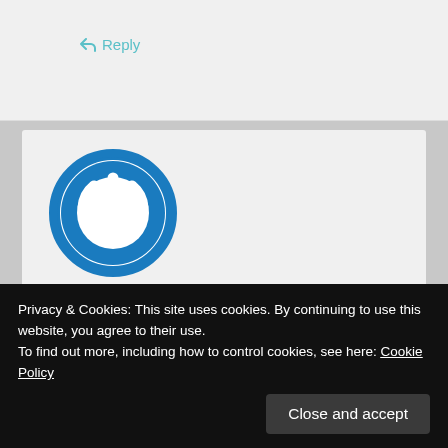↩ Reply
[Figure (logo): Blue circular power button icon avatar for user Shannon Hackett]
Shannon Hackett says:
November 5, 2014 at 4:41 am
Love it!
Privacy & Cookies: This site uses cookies. By continuing to use this website, you agree to their use.
To find out more, including how to control cookies, see here: Cookie Policy
Close and accept